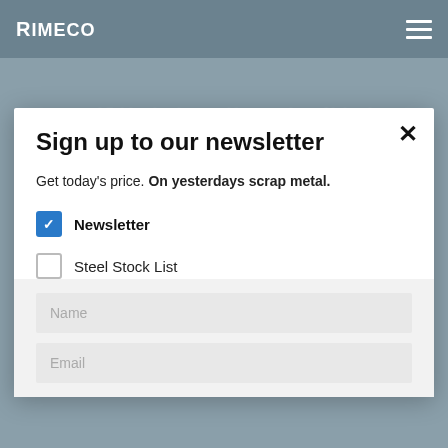RIMECO
establishing business with a number of inland scrap suppliers for a Rimeco's newly established ocean collection yard in the port of
Sign up to our newsletter
Get today's price. On yesterdays scrap metal.
Newsletter (checked)
Steel Stock List (unchecked)
Name
Email